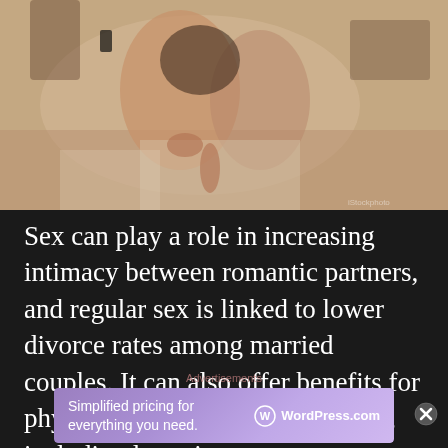[Figure (photo): Overhead view of a couple lying on a bed with white/beige bedding, one person holding a smartphone]
Sex can play a role in increasing intimacy between romantic partners, and regular sex is linked to lower divorce rates among married couples. It can also offer benefits for physical and psychological health, including lowering
Advertisements
[Figure (infographic): WordPress.com advertisement banner with purple gradient background. Text: 'Simplified pricing for everything you need.' with WordPress.com logo and text on right side.]